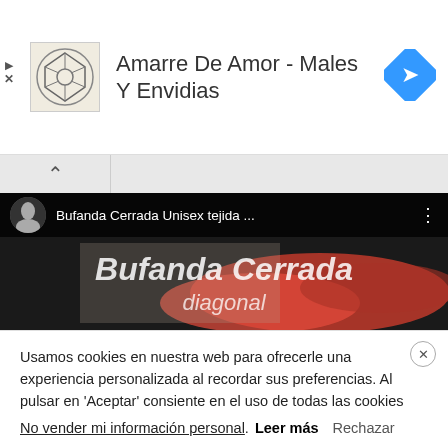[Figure (screenshot): Advertisement banner with logo image, title 'Amarre De Amor - Males Y Envidias', and a blue diamond-shaped navigation arrow icon]
[Figure (screenshot): Video thumbnail showing 'Bufanda Cerrada Unisex tejida ...' with channel icon, three-dot menu, and overlay text 'Bufanda Cerrada' and 'diagonal' on a dark background with a red knitted scarf]
Usamos cookies en nuestra web para ofrecerle una experiencia personalizada al recordar sus preferencias. Al pulsar en 'Aceptar' consiente en el uso de todas las cookies
No vender mi información personal. Leer más Rechazar
Aceptar
Configuración de cookies